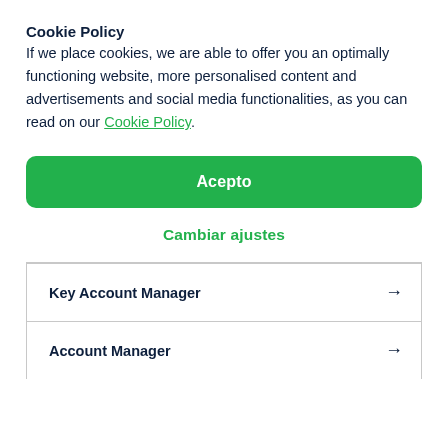Cookie Policy
If we place cookies, we are able to offer you an optimally functioning website, more personalised content and advertisements and social media functionalities, as you can read on our Cookie Policy.
Acepto
Cambiar ajustes
Key Account Manager →
Account Manager →